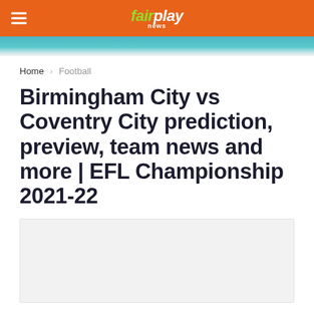fairplay news
Home › Football
Birmingham City vs Coventry City prediction, preview, team news and more | EFL Championship 2021-22
[Figure (photo): Article featured image placeholder (light grey box)]